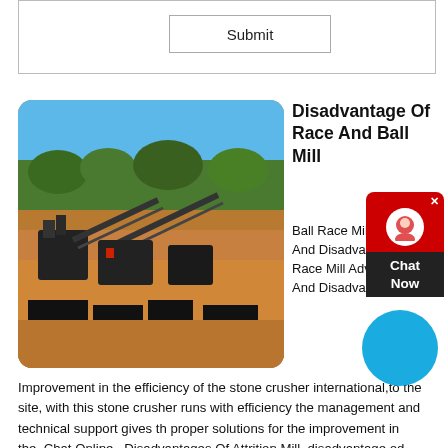[Figure (screenshot): Submit button UI form element]
Disadvantage Of Race And Ball Mill
[Figure (photo): Outdoor mining/crushing plant with machinery and conveyor belts on a dirt site]
Ball Race Mill Advangage And Disadvantage. Ball Race Mill Advangage And Disadvantage Improvement in the efficiency of the stone crusher international,to the site, with this stone crusher runs with efficiency the management and technical support gives the proper solutions for the improvement in the. Chat Online . Disadvantages Of Attrition Mill. disadvantage od cement ball mill
get price
Disadvantage Of Race And Ball Mill